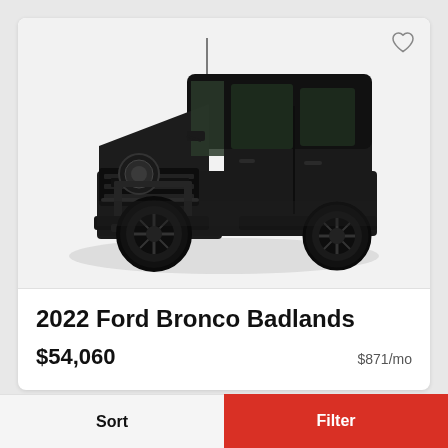[Figure (photo): A dark black Ford Bronco Badlands SUV photographed from a front-three-quarter angle on a white background, showing the grille with BRONCO lettering, round headlights, bull bar, large off-road tires, and a dark hardtop roof.]
2022 Ford Bronco Badlands
$54,060
$871/mo
Sort
Filter